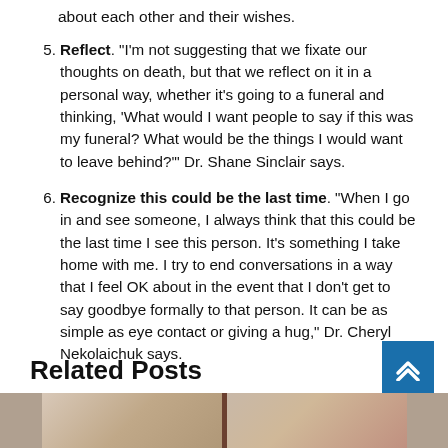about each other and their wishes.
Reflect. “I’m not suggesting that we fixate our thoughts on death, but that we reflect on it in a personal way, whether it’s going to a funeral and thinking, ‘What would I want people to say if this was my funeral? What would be the things I would want to leave behind?’” Dr. Shane Sinclair says.
Recognize this could be the last time. “When I go in and see someone, I always think that this could be the last time I see this person. It’s something I take home with me. I try to end conversations in a way that I feel OK about in the event that I don’t get to say goodbye formally to that person. It can be as simple as eye contact or giving a hug,” Dr. Cheryl Nekolaichuk says.
Related Posts
[Figure (photo): Partial view of a photo strip at the bottom of the page showing two people]